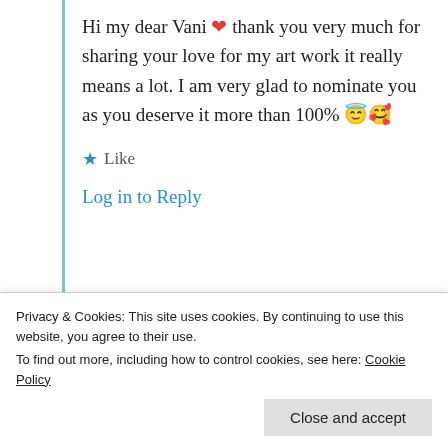Hi my dear Vani ❤️ thank you very much for sharing your love for my art work it really means a lot. I am very glad to nominate you as you deserve it more than 100% 😇🥰
★ Like
Log in to Reply
Advertisements
[Figure (other): Pocket Casts advertisement banner: Your next favorite podcast is here.]
Privacy & Cookies: This site uses cookies. By continuing to use this website, you agree to their use. To find out more, including how to control cookies, see here: Cookie Policy
Close and accept